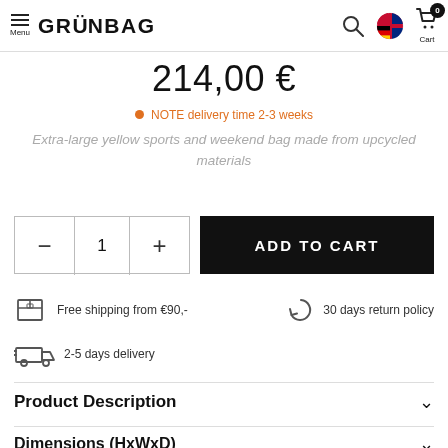Menu | GRÜNBAG | Search | Language | Cart 0
214,00 €
NOTE delivery time 2-3 weeks
Extra-large yellow sports and weekend bag made from upcycled materials
— 1 + ADD TO CART
Free shipping from €90,-
30 days return policy
2-5 days delivery
Product Description
Dimensions (HxWxD)